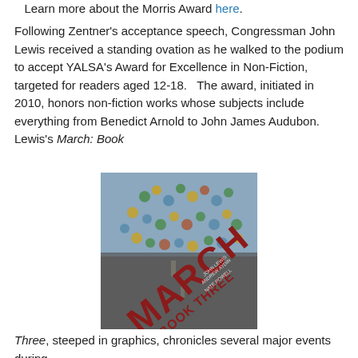Learn more about the Morris Award here.
Following Zentner's acceptance speech, Congressman John Lewis received a standing ovation as he walked to the podium to accept YALSA's Award for Excellence in Non-Fiction, targeted for readers aged 12-18. The award, initiated in 2010, honors non-fiction works whose subjects include everything from Benedict Arnold to John James Audubon. Lewis's March: Book
[Figure (photo): Book cover of 'March: Book Three' by John Lewis, Andrew Aydin, and Nate Powell, showing an aerial view of marchers on a road with large red 'MARCH' and 'BOOK THREE' text overlay.]
Three, steeped in graphics, chronicles several major events during